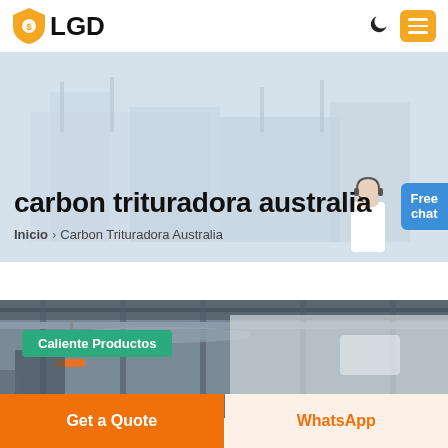LGD
carbon trituradora australia
Inicio > Carbon Trituradora Australia
[Figure (photo): Industrial factory/plant background image used as hero banner, with a customer service representative image on the right side]
Free chat
[Figure (photo): Interior of an industrial manufacturing facility with steel beams, overhead cranes with orange hooks, pipes and industrial equipment]
Caliente Productos
Get a Quote
WhatsApp